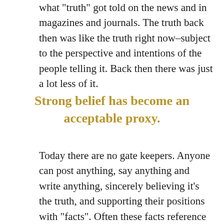what "truth" got told on the news and in magazines and journals. The truth back then was like the truth right now–subject to the perspective and intentions of the people telling it. Back then there was just a lot less of it.
Strong belief has become an acceptable proxy.
Today there are no gate keepers. Anyone can post anything, say anything and write anything, sincerely believing it's the truth, and supporting their positions with "facts". Often these facts reference other facts from other posts without a review of the original source material. Some of